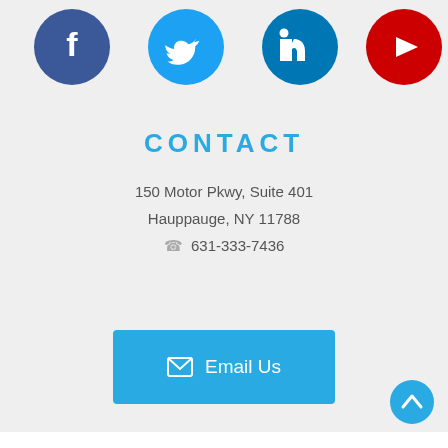[Figure (illustration): Four social media icons in circles: Facebook (dark blue), Twitter (light blue), LinkedIn (blue), YouTube (red)]
CONTACT
150 Motor Pkwy, Suite 401
Hauppauge, NY 11788
☎ 631-333-7436
[Figure (illustration): Blue button with envelope icon and text 'Email Us']
[Figure (illustration): Blue circular back-to-top arrow button in bottom right]